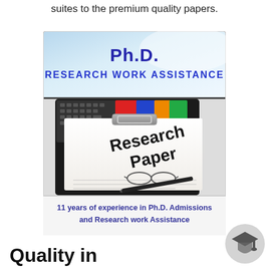suites to the premium quality papers.
[Figure (illustration): Ph.D. Research Work Assistance promotional image showing a clipboard with 'Research Paper' text, a keyboard, glasses, and pen. Contains text: 'Ph.D. RESEARCH WORK ASSISTANCE' and '11 years of experience in Ph.D. Admissions and Research work Assistance']
Quality in